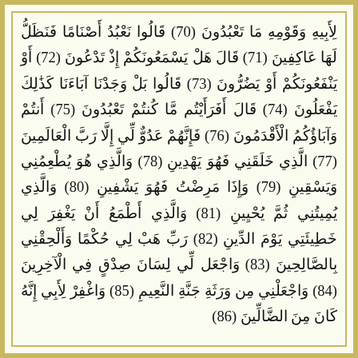لِأَبِيهِ وَقَوْمِهِ مَا تَعْبُدُونَ (70) قَالُوا نَعْبُدُ أَصْنَامًا فَنَظَلُّ لَهَا عَاكِفِينَ (71) قَالَ هَلْ يَسْمَعُونَكُمْ إِذْ تَدْعُونَ (72) أَوْ يَنْفَعُونَكُمْ أَوْ يَضُرُّونَ (73) قَالُوا بَلْ وَجَدْنَا آبَاءَنَا كَذَٰلِكَ يَفْعَلُونَ (74) قَالَ أَفَرَأَيْتُم مَّا كُنتُمْ تَعْبُدُونَ (75) أَنتُمْ وَآبَاؤُكُمُ الْأَقْدَمُونَ (76) فَإِنَّهُمْ عَدُوٌّ لِّي إِلَّا رَبَّ الْعَالَمِينَ (77) الَّذِي خَلَقَنِي فَهُوَ يَهْدِينِ (78) وَالَّذِي هُوَ يُطْعِمُنِي وَيَسْقِينِ (79) وَإِذَا مَرِضْتُ فَهُوَ يَشْفِينِ (80) وَالَّذِي يُمِيتُنِي ثُمَّ يُحْيِينِ (81) وَالَّذِي أَطْمَعُ أَنْ يَغْفِرَ لِي خَطِيئَتِي يَوْمَ الدِّينِ (82) رَبِّ هَبْ لِي حُكْمًا وَأَلْحِقْنِي بِالصَّالِحِينَ (83) وَاجْعَل لِّي لِسَانَ صِدْقٍ فِي الْآخِرِينَ (84) وَاجْعَلْنِي مِن وَرَثَةِ جَنَّةِ النَّعِيمِ (85) وَاغْفِرْ لِأَبِي إِنَّهُ كَانَ مِنَ الضَّالِّينَ (86)